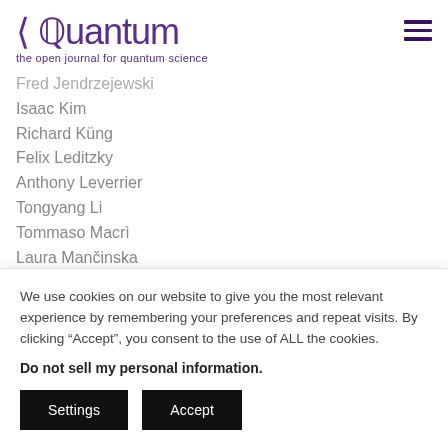Quantum — the open journal for quantum science
Fred Jendrzejewski
Isaac Kim
Richard Küng
Felix Leditzky
Anthony Leverrier
Tongyang Li
Tommaso Macrì
Laura Mančinska
We use cookies on our website to give you the most relevant experience by remembering your preferences and repeat visits. By clicking “Accept”, you consent to the use of ALL the cookies.
Do not sell my personal information.